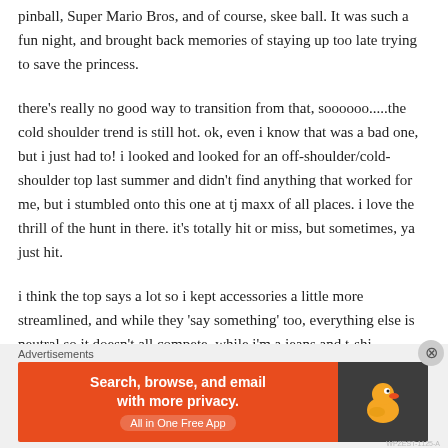pinball, Super Mario Bros, and of course, skee ball.  It was such a fun night, and brought back memories of staying up too late trying to save the princess.
there's really no good way to transition from that, soooooo.....the cold shoulder trend is still hot.  ok, even i know that was a bad one, but i just had to!  i looked and looked for an off-shoulder/cold-shoulder top last summer and didn't find anything that worked for me, but i stumbled onto this one at tj maxx of all places.  i love the thrill of the hunt in there.  it's totally hit or miss, but sometimes, ya just hit.
i think the top says a lot so i kept accessories a little more streamlined, and while they 'say something' too, everything else is neutral so it doesn't all compete.  while i'm a jeans and t-shi
Advertisements
[Figure (infographic): DuckDuckGo advertisement banner: orange left side with text 'Search, browse, and email with more privacy. All in One Free App' and dark right side with DuckDuckGo duck logo]